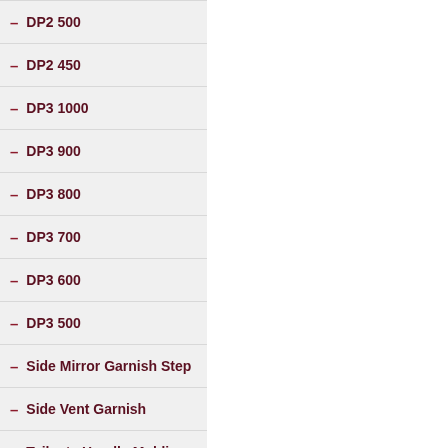DP2 500
DP2 450
DP3 1000
DP3 900
DP3 800
DP3 700
DP3 600
DP3 500
Side Mirror Garnish Step
Side Vent Garnish
Tailgate Handle Molding
Trunk Garnish
Urethane Snow Chain
Clover Snow Chain
Window Accent